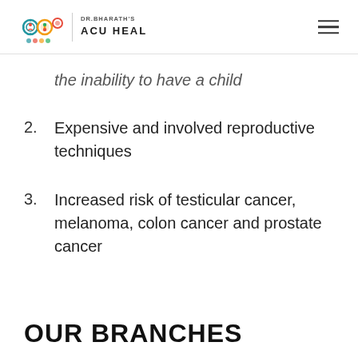Dr. Bharath's Acu Heal
the inability to have a child
2. Expensive and involved reproductive techniques
3. Increased risk of testicular cancer, melanoma, colon cancer and prostate cancer
OUR BRANCHES